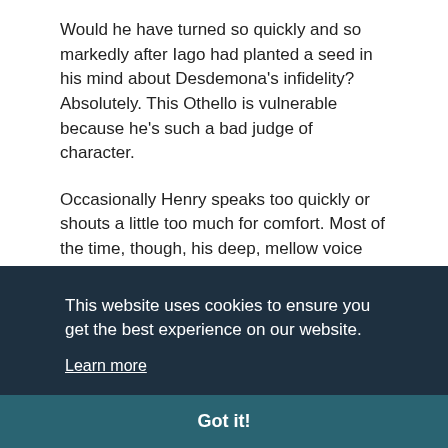Would he have turned so quickly and so markedly after Iago had planted a seed in his mind about Desdemona's infidelity? Absolutely. This Othello is vulnerable because he's such a bad judge of character.
Occasionally Henry speaks too quickly or shouts a little too much for comfort. Most of the time, though, his deep, mellow voice penetrates every nook of the New Vic,
This website uses cookies to ensure you get the best experience on our website.
Learn more
Got it!